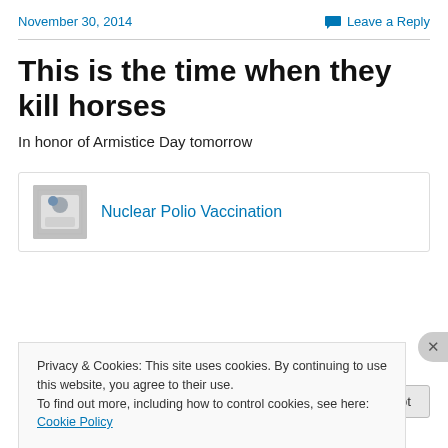November 30, 2014
Leave a Reply
This is the time when they kill horses
In honor of Armistice Day tomorrow
[Figure (screenshot): Card preview showing 'Nuclear Polio Vaccination' link with a thumbnail image of a person]
Privacy & Cookies: This site uses cookies. By continuing to use this website, you agree to their use.
To find out more, including how to control cookies, see here: Cookie Policy
Close and accept